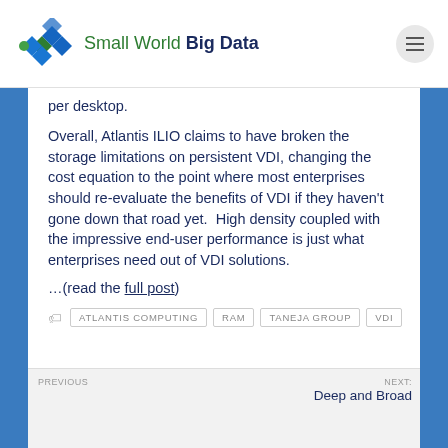Small World Big Data
per desktop.
Overall, Atlantis ILIO claims to have broken the storage limitations on persistent VDI, changing the cost equation to the point where most enterprises should re-evaluate the benefits of VDI if they haven't gone down that road yet.  High density coupled with the impressive end-user performance is just what enterprises need out of VDI solutions.
…(read the full post)
ATLANTIS COMPUTING   RAM   TANEJA GROUP   VDI
Next: Deep and Broad